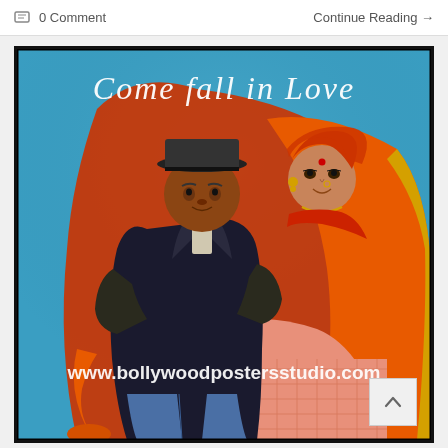0 Comment
Continue Reading →
[Figure (illustration): A Bollywood-style painted poster showing a man in a black leather jacket and hat carrying a woman dressed in a red and orange Indian saree. The background is blue. Text at top reads 'Come fall in Love' in white cursive. Watermark at bottom reads 'www.bollywoodpostersstudio.com']